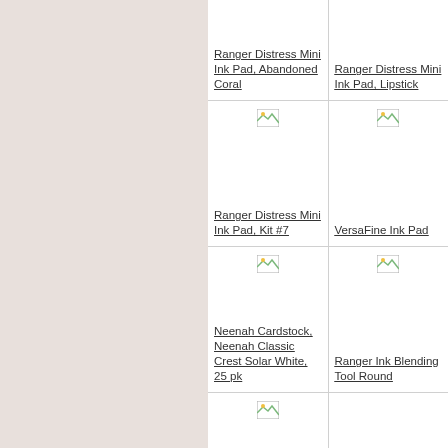[Figure (other): Broken image placeholder for Ranger Distress Mini Ink Pad, Abandoned Coral]
Ranger Distress Mini Ink Pad, Abandoned Coral
[Figure (other): Broken image placeholder for Ranger Distress Lipstick]
Ranger Distress Lipstick
[Figure (other): Broken image placeholder for Ranger Distress Mini Ink Pad, Kit #7]
Ranger Distress Mini Ink Pad, Kit #7
[Figure (other): Broken image placeholder for VersaFine Ink Pad]
VersaFine Ink Pad
[Figure (other): Broken image placeholder for Neenah Cardstock, Neenah Classic Crest Solar White, 25 pk]
Neenah Cardstock, Neenah Classic Crest Solar White, 25 pk
[Figure (other): Broken image placeholder for Ranger Ink Blending Tool Round]
Ranger Ink Blending Tool Round
[Figure (other): Broken image placeholder (partial, bottom row)]